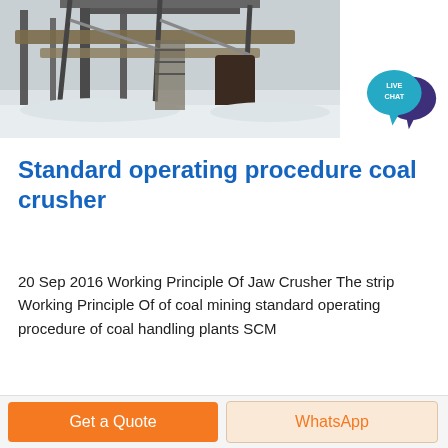[Figure (photo): Industrial coal crusher / mining machinery equipment photographed in snowy/winter conditions, showing conveyor belts, structural steel frames, and processing equipment]
Standard operating procedure coal crusher
20 Sep 2016 Working Principle Of Jaw Crusher The strip Working Principle Of of coal mining standard operating procedure of coal handling plants SCM